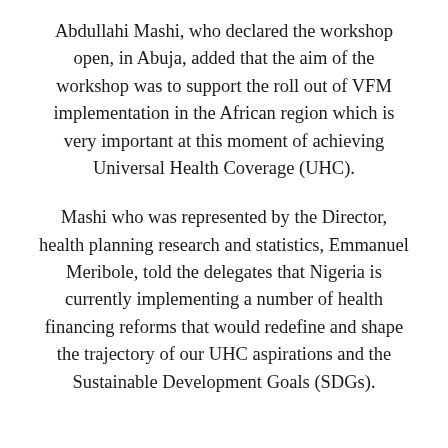Abdullahi Mashi, who declared the workshop open, in Abuja, added that the aim of the workshop was to support the roll out of VFM implementation in the African region which is very important at this moment of achieving Universal Health Coverage (UHC).
Mashi who was represented by the Director, health planning research and statistics, Emmanuel Meribole, told the delegates that Nigeria is currently implementing a number of health financing reforms that would redefine and shape the trajectory of our UHC aspirations and the Sustainable Development Goals (SDGs).